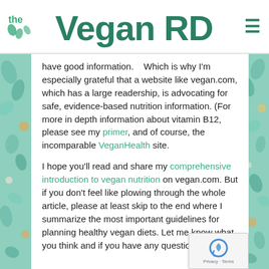the Vegan RD
have good information.    Which is why I'm especially grateful that a website like vegan.com, which has a large readership, is advocating for safe, evidence-based nutrition information. (For more in depth information about vitamin B12, please see my primer, and of course, the incomparable VeganHealth site.
I hope you'll read and share my comprehensive introduction to vegan nutrition on vegan.com. But if you don't feel like plowing through the whole article, please at least skip to the end where I summarize the most important guidelines for planning healthy vegan diets. Let me know what you think and if you have any questions.